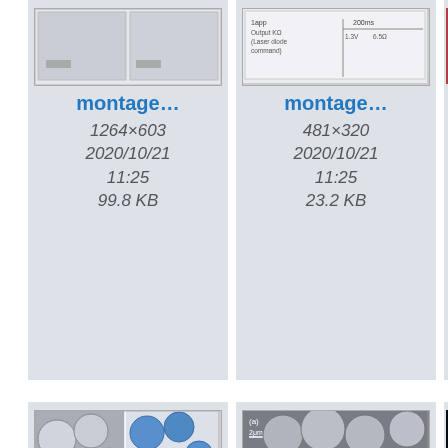[Figure (screenshot): File browser thumbnail grid showing scientific image files. Row 1: montage... (1264x603, 2020/10/21 11:25, 99.8 KB), montage... (481x320, 2020/10/21 11:25, 23.2 KB), partially visible third card. Row 2: nano.png (467x273, 2020/10/21 11:25, 177.3 KB) with SEM image of nanospheres, nano1.jpg (222x215, 2020/10/21 11:25, 10 KB) with SEM image of nanospheres, partially visible third card. Row 3: partially visible cards with nanotube and medical imaging thumbnails.]